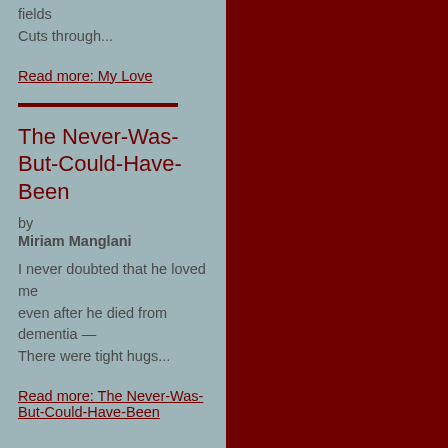fields
Cuts through...
Read more: My Love
The Never-Was-But-Could-Have-Been
by
Miriam Manglani
I never doubted that he loved me
even after he died from dementia —
There were tight hugs...
Read more: The Never-Was-But-Could-Have-Been